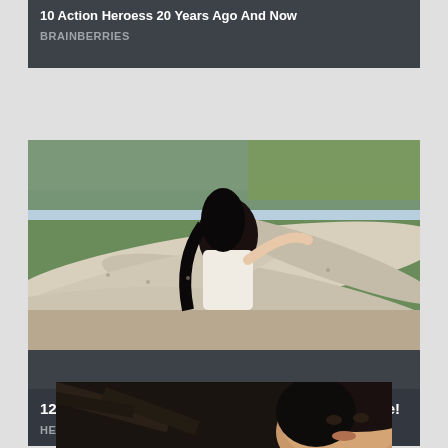10 Action Heroess 20 Years Ago And Now
BRAINBERRIES
[Figure (photo): Woman with dark hair posing against driftwood on a beach, white top]
12 Reasons To Follow Holly Luyah - She's On Fire!
HERBEAUTY
[Figure (photo): Dark-haired woman with dark background, partial face visible, glamour portrait]